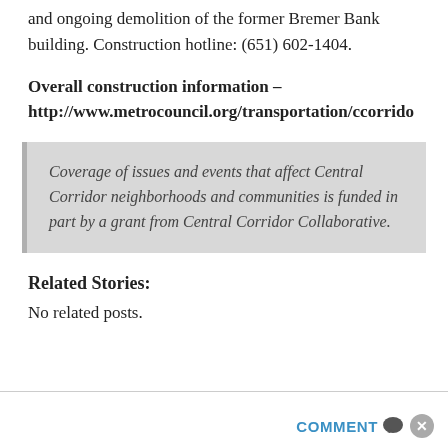and ongoing demolition of the former Bremer Bank building. Construction hotline: (651) 602-1404.
Overall construction information – http://www.metrocouncil.org/transportation/ccorrido
Coverage of issues and events that affect Central Corridor neighborhoods and communities is funded in part by a grant from Central Corridor Collaborative.
Related Stories:
No related posts.
COMMENT